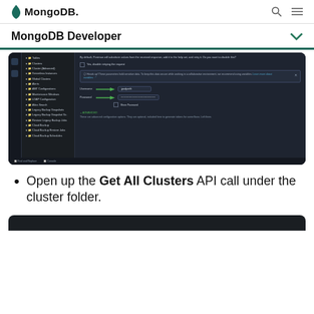MongoDB
MongoDB Developer
[Figure (screenshot): MongoDB Atlas admin UI screenshot showing the API authentication form with Username and Password fields highlighted with green arrows, and a dark-themed sidebar with navigation items like Tables, Clusters, Cluster (Advanced), Serverless Instances, Global Clusters, Alerts, AMT Configurations, Maintenance Windows, LDAP Configuration, Atlas Search, Legacy Backup Snapshots, Legacy Backup Snapshot Sc., Restore Legacy Backup Jobs, Cloud Backup, Cloud Backup Restore Jobs, Cloud Backup Schedules]
Open up the Get All Clusters API call under the cluster folder.